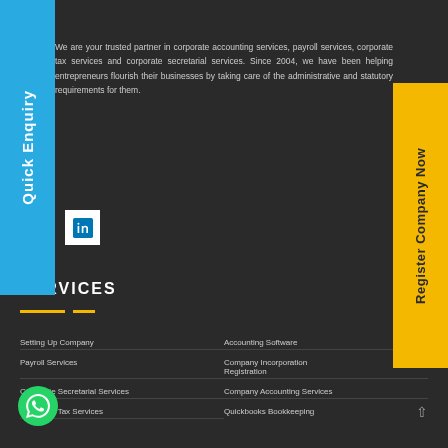We are your trusted partner in corporate accounting services, payroll services, corporate tax services and corporate secretarial services. Since 2004, we have been helping entrepreneurs flourish their businesses by taking care of the administrative and statutory requirements for them.
[Figure (logo): LinkedIn icon in white square box]
SERVICES
Setting Up Company
Accounting Software
Payroll Services
Company Incorporation Registration
Corporate Secretarial Services
Company Accounting Services
Corporate Tax Services
Quickbooks Bookkeeping